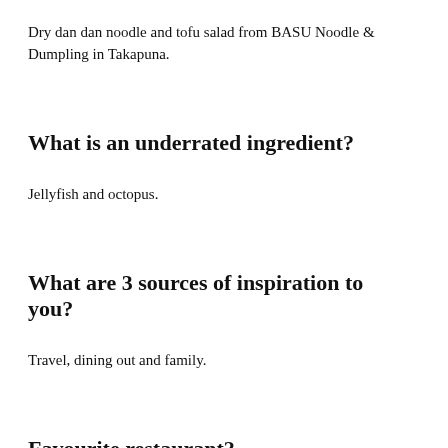Dry dan dan noodle and tofu salad from BASU Noodle & Dumpling in Takapuna.
What is an underrated ingredient?
Jellyfish and octopus.
What are 3 sources of inspiration to you?
Travel, dining out and family.
Favourite restaurant?
Meredith's and BASU Noodle & Dumpling in Auckland. Sixpenny and Supernormal in Australia.